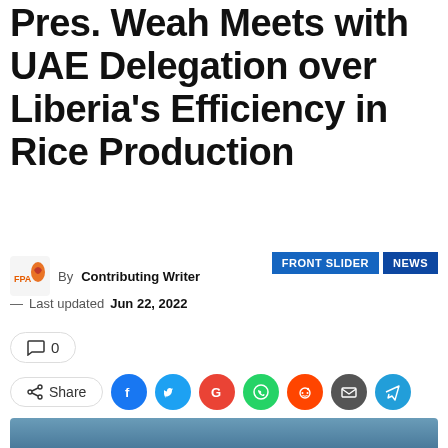Pres. Weah Meets with UAE Delegation over Liberia's Efficiency in Rice Production
By Contributing Writer
FRONT SLIDER  NEWS
Last updated Jun 22, 2022
0
Share
[Figure (photo): Group photo of President Weah and UAE delegation members standing together in a formal room with flags, wood-paneled walls in the background.]